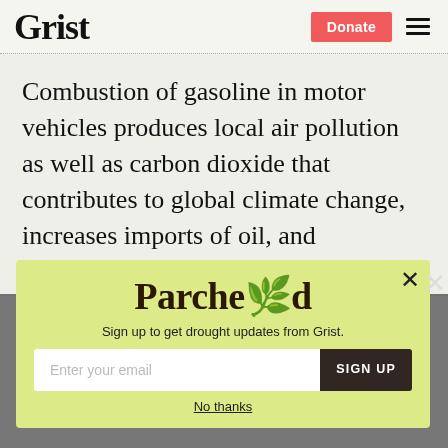Grist
Combustion of gasoline in motor vehicles produces local air pollution as well as carbon dioxide that contributes to global climate change, increases imports of oil, and exacerbates urban highway congestion. Can anyone really claim that — given a
[Figure (infographic): Parchea newsletter signup popup with yellow-green background, showing 'Parched' logo text, subtitle 'Sign up to get drought updates from Grist.', an email input field, SIGN UP button, and 'No thanks' link.]
Sign up to get drought updates from Grist.
No thanks